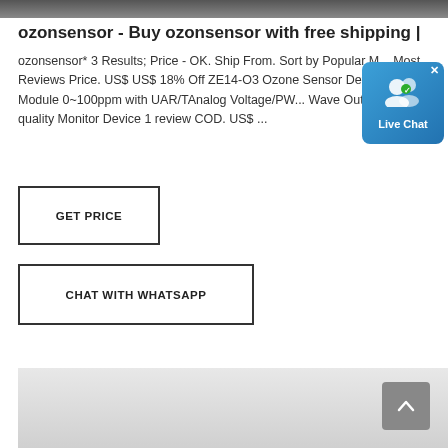[Figure (screenshot): Top image strip showing a dark gray product image banner]
ozonsensor - Buy ozonsensor with free shipping |
ozonsensor* 3 Results; Price - OK. Ship From. Sort by Popular M... Most Reviews Price. US$ US$ 18% Off ZE14-O3 Ozone Sensor Detection Module 0~100ppm with UAR/TAnalog Voltage/PW... Wave Output for Air-quality Monitor Device 1 review COD. US$ ...
[Figure (screenshot): Live Chat widget button with user icon and close X]
[Figure (other): GET PRICE button with border]
[Figure (other): CHAT WITH WHATSAPP button with border]
[Figure (screenshot): Bottom light gray image area, possibly product listing section]
[Figure (other): Scroll to top button (dark gray with up arrow)]